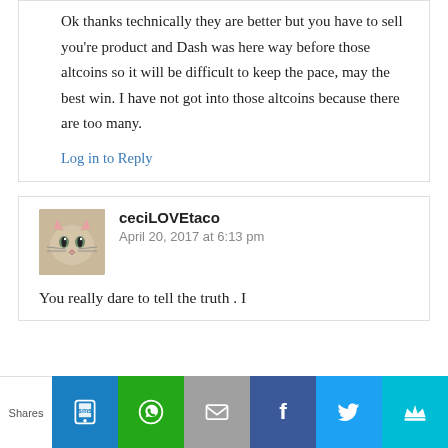Ok thanks technically they are better but you have to sell you're product and Dash was here way before those altcoins so it will be difficult to keep the pace, may the best win. I have not got into those altcoins because there are too many.
Log in to Reply
ceciLOVEtaco
April 20, 2017 at 6:13 pm
You really dare to tell the truth . I
Shares